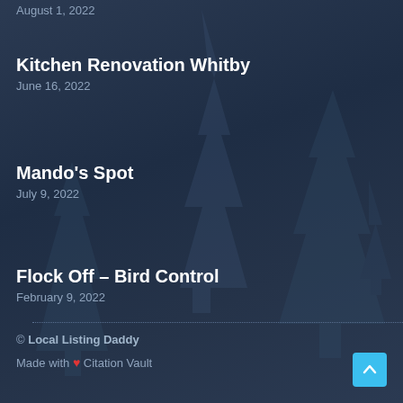Kitchen Renovation Whitby
June 16, 2022
Mando's Spot
July 9, 2022
Flock Off – Bird Control
February 9, 2022
© Local Listing Daddy
Made with ❤ Citation Vault